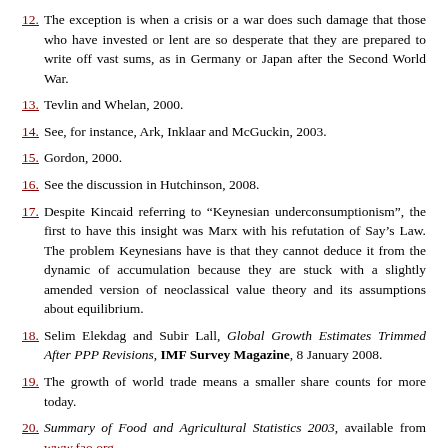12. The exception is when a crisis or a war does such damage that those who have invested or lent are so desperate that they are prepared to write off vast sums, as in Germany or Japan after the Second World War.
13. Tevlin and Whelan, 2000.
14. See, for instance, Ark, Inklaar and McGuckin, 2003.
15. Gordon, 2000.
16. See the discussion in Hutchinson, 2008.
17. Despite Kincaid referring to “Keynesian underconsumptionism”, the first to have this insight was Marx with his refutation of Say’s Law. The problem Keynesians have is that they cannot deduce it from the dynamic of accumulation because they are stuck with a slightly amended version of neoclassical value theory and its assumptions about equilibrium.
18. Selim Elekdag and Subir Lall, Global Growth Estimates Trimmed After PPP Revisions, IMF Survey Magazine, 8 January 2008.
19. The growth of world trade means a smaller share counts for more today.
20. Summary of Food and Agricultural Statistics 2003, available from www.fao.org.
21. ILO, 2002.